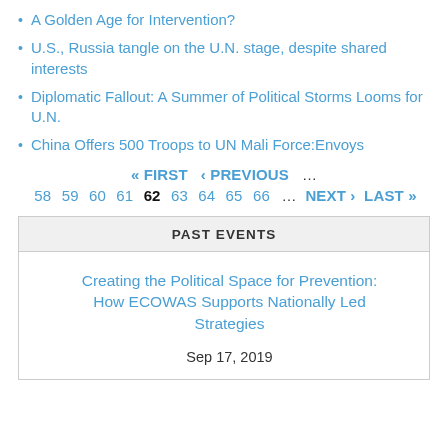A Golden Age for Intervention?
U.S., Russia tangle on the U.N. stage, despite shared interests
Diplomatic Fallout: A Summer of Political Storms Looms for U.N.
China Offers 500 Troops to UN Mali Force:Envoys
« FIRST ‹ PREVIOUS … 58 59 60 61 62 63 64 65 66 … NEXT › LAST »
PAST EVENTS
Creating the Political Space for Prevention: How ECOWAS Supports Nationally Led Strategies
Sep 17, 2019